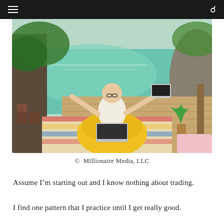≡  Q
[Figure (photo): Man sitting on a yellow bean bag chair on a wooden deck overlooking a turquoise lagoon, arms spread wide, holding a laptop in his right hand, with another laptop on his lap. Tropical scenery with trees and rock formations in the background.]
©  Millionaire Media, LLC
Assume I'm starting out and I know nothing about trading.
I find one pattern that I practice until I get really good.